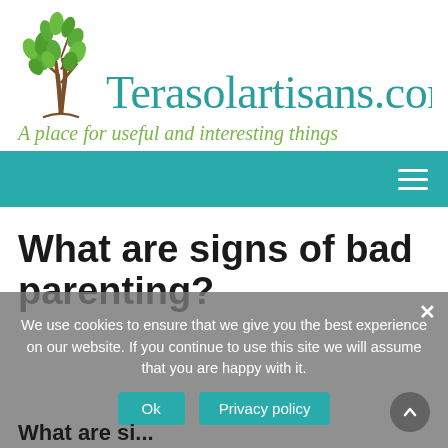[Figure (logo): Terasolartisans.com website logo with a stylized tree with green leaves and brown trunk above the site name in teal and tagline in green]
Terasolartisans.com
A place for useful and interesting things
[Figure (screenshot): Teal navigation bar with hamburger menu icon on the right]
What are signs of bad parenting?
We use cookies to ensure that we give you the best experience on our website. If you continue to use this site we will assume that you are happy with it.
Ok    Privacy policy